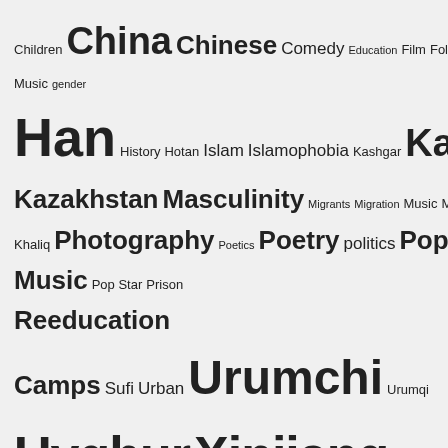[Figure (infographic): Tag cloud with terms: Children, China, Chinese, Comedy, Education, Film, Folk Music, gender, Han, History, Hotan, Islam, Islamophobia, Kashgar, Kazakh, Kazakhstan, Masculinity, Migrants, Migration, Music, Möminjan, Perhat Khaliq, Photography, Poetics, Poetry, politics, Pop Music, Pop Star, Prison, Reeducation Camps, Sufi, Urban, Urumchi, Urumqi, Uyghur, Xinjiang, Xinjiang Style, Youth]
FOLLOW ALCCA ON TWITTER
[Figure (screenshot): Twitter widget showing 'Tweets from @dtbyler' with a Follow button, and a retweet by Darren Byler of Jing Wang (@JingWang0815) from Aug 24 saying: It's always fun reading @yangyang_cheng 's book reviews. Learned a lot about #China #EastAsia #EnergyPolitics #Borderlands]